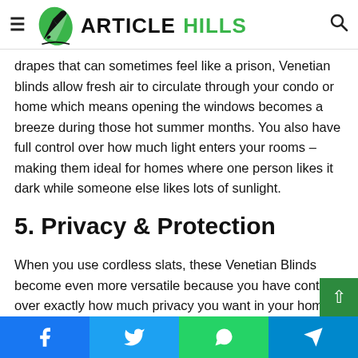ArticleHills logo and navigation
drapes that can sometimes feel like a prison, Venetian blinds allow fresh air to circulate through your condo or home which means opening the windows becomes a breeze during those hot summer months. You also have full control over how much light enters your rooms – making them ideal for homes where one person likes it dark while someone else likes lots of sunlight.
5. Privacy & Protection
When you use cordless slats, these Venetian Blinds become even more versatile because you have control over exactly how much privacy you want in your home. For example, wh
Facebook Twitter WhatsApp Telegram social share bar